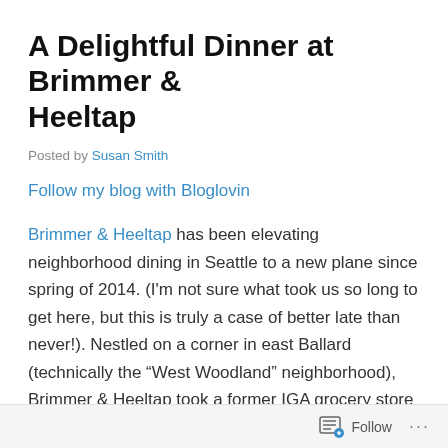A Delightful Dinner at Brimmer & Heeltap
Posted by Susan Smith
Follow my blog with Bloglovin
Brimmer & Heeltap has been elevating neighborhood dining in Seattle to a new plane since spring of 2014. (I’m not sure what took us so long to get here, but this is truly a case of better late than never!). Nestled on a corner in east Ballard (technically the “West Woodland” neighborhood), Brimmer & Heeltap took a former IGA grocery store building and created a small urban nirvana with whitewashed interiors reminiscent of Martha’s Vineyard and a secret
Follow ...